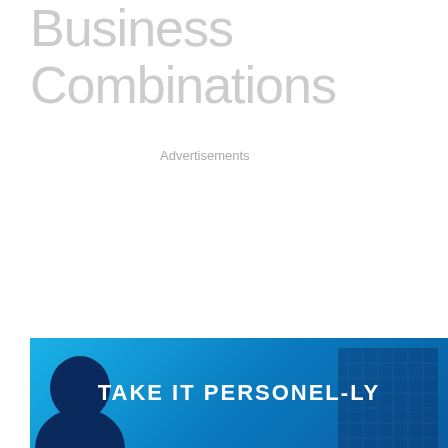Business Combinations
Advertisements
[Figure (illustration): Advertisement banner with blue gradient background. Text reads 'TAKE IT PERSONEL-LY' in white bold letters. Left side shows a dark silhouette of a person's head. Right side shows a dark blue building/skyscraper graphic.]